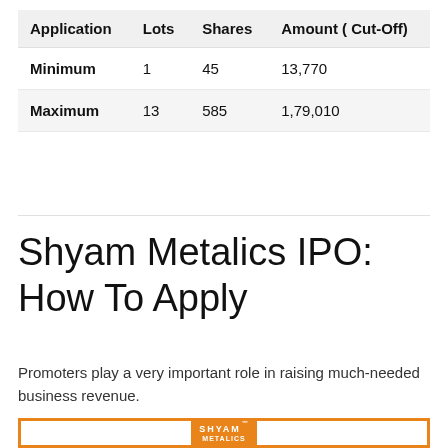| Application | Lots | Shares | Amount ( Cut-Off) |
| --- | --- | --- | --- |
| Minimum | 1 | 45 | 13,770 |
| Maximum | 13 | 585 | 1,79,010 |
Shyam Metalics IPO: How To Apply
Promoters play a very important role in raising much-needed business revenue.
[Figure (logo): Shyam Metalics logo with orange background and white text, inside an orange-bordered rectangle]